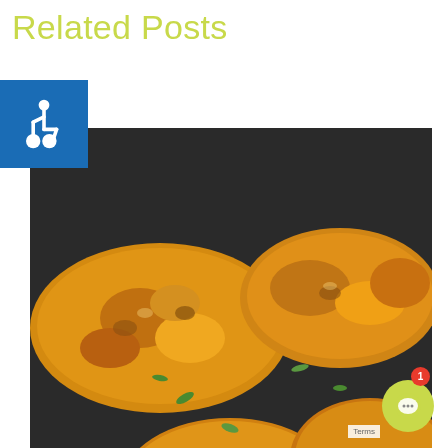Related Posts
[Figure (photo): Accessibility icon — white wheelchair symbol on blue background]
[Figure (photo): Close-up photo of golden-brown potato pancakes (boxty/latkes) with green onion garnish on a dark pan]
Schedule a Tour
View Photos
Prices / Availability
Cook Up Some Fun on St. Patrick’s Day
St. Patrick’s Day is almost here! Are you ready? N don’t worry, today we’re sharing recipes for cele... St. Patrick’s Day at home and